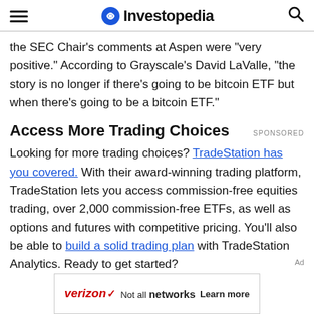Investopedia
the SEC Chair's comments at Aspen were "very positive." According to Grayscale's David LaValle, "the story is no longer if there's going to be bitcoin ETF but when there's going to be a bitcoin ETF."
Access More Trading Choices
Looking for more trading choices? TradeStation has you covered. With their award-winning trading platform, TradeStation lets you access commission-free equities trading, over 2,000 commission-free ETFs, as well as options and futures with competitive pricing. You'll also be able to build a solid trading plan with TradeStation Analytics. Ready to get started?
[Figure (other): Verizon advertisement banner: verizon logo, 'Not all networks', 'Learn more' button]